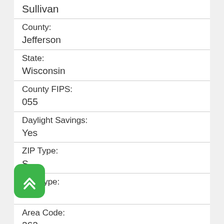Sullivan
County: Jefferson
State: Wisconsin
County FIPS: 055
Daylight Savings: Yes
ZIP Type: S
City Type: D
Area Code: 262
Co-ordinates: ...010733, -88.599899
Unemployment Rate: 4...